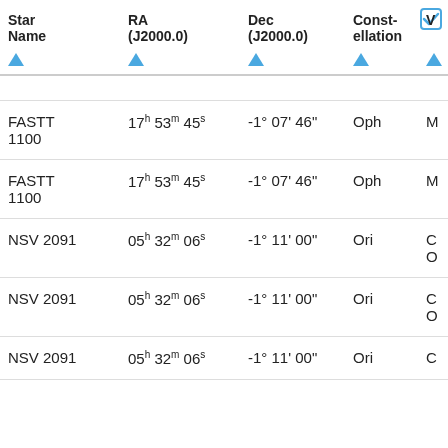| Star Name | RA (J2000.0) | Dec (J2000.0) | Const-ellation | V T |
| --- | --- | --- | --- | --- |
| FASTT 1100 | 17h 53m 45s | -1° 07' 46" | Oph | M |
| FASTT 1100 | 17h 53m 45s | -1° 07' 46" | Oph | M |
| NSV 2091 | 05h 32m 06s | -1° 11' 00" | Ori | C O |
| NSV 2091 | 05h 32m 06s | -1° 11' 00" | Ori | C O |
| NSV 2091 | 05h 32m 06s | -1° 11' 00" | Ori | C |